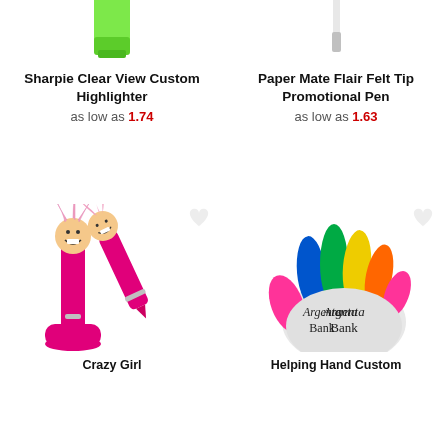[Figure (photo): Green Sharpie Clear View Custom Highlighter, top portion visible]
[Figure (photo): Red Paper Mate Flair Felt Tip Promotional Pen, top portion visible]
Sharpie Clear View Custom Highlighter
as low as 1.74
Paper Mate Flair Felt Tip Promotional Pen
as low as 1.63
[Figure (photo): Two pink novelty pens with smiley face topper and feather hair, standing upright]
[Figure (photo): Hand-shaped multi-color highlighter set with Argenta Bank logo]
Crazy Girl
Helping Hand Custom